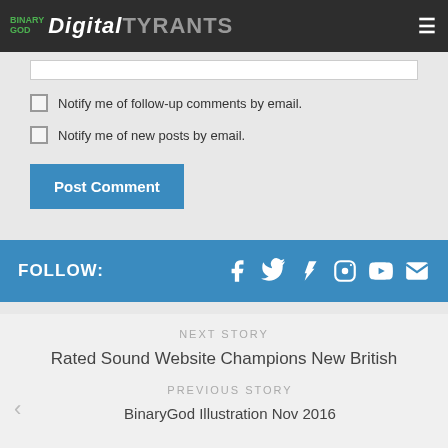BinaryGod DigitalTyrants
Notify me of follow-up comments by email.
Notify me of new posts by email.
Post Comment
FOLLOW:
NEXT STORY
Rated Sound Website Champions New British Hard Rock Music for 2017
PREVIOUS STORY
BinaryGod Illustration Nov 2016